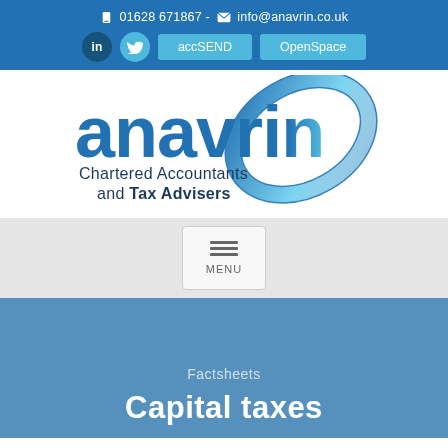📱 01628 671867 - ✉ info@anavrin.co.uk
[Figure (logo): Anavrin Chartered Accountants and Tax Advisers logo with circular swoosh graphic in blue tones]
MENU
Factsheets
Capital taxes